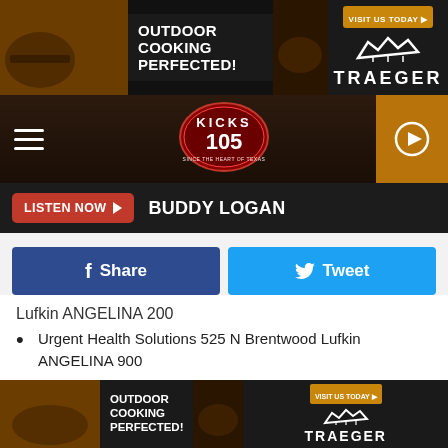[Figure (screenshot): Traeger Outdoor Cooking Perfected advertisement banner at top]
[Figure (logo): Kicks 105 radio station logo and navigation bar with hamburger menu and play button]
LISTEN NOW ▶  BUDDY LOGAN
[Figure (screenshot): Facebook Share and Twitter Tweet social media buttons]
Lufkin ANGELINA 200
Urgent Health Solutions 525 N Brentwood Lufkin ANGELINA 900
Woodland Heights Medical Center 505 S John Redditt Dr Lufkin ANGELINA 500
Texas Dads State Supportive Living Center Lufkin 6844 U.S. 69 Pollok ANGELINA 1100
Brookshires Pharmacy 7 210 N Marcus Alto CHEROKEE 100
[Figure (screenshot): Traeger Outdoor Cooking Perfected advertisement banner at bottom]